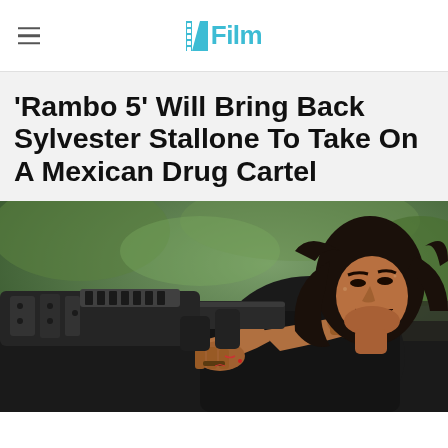/Film
'Rambo 5' Will Bring Back Sylvester Stallone To Take On A Mexican Drug Cartel
[Figure (photo): Action movie still showing a man with long dark hair wielding a large machine gun, grimacing intensely, from the Rambo film series]